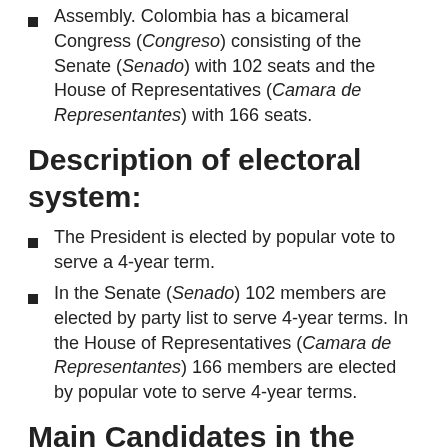Assembly. Colombia has a bicameral Congress (Congreso) consisting of the Senate (Senado) with 102 seats and the House of Representatives (Camara de Representantes) with 166 seats.
Description of electoral system:
The President is elected by popular vote to serve a 4-year term.
In the Senate (Senado) 102 members are elected by party list to serve 4-year terms. In the House of Representatives (Camara de Representantes) 166 members are elected by popular vote to serve 4-year terms.
Main Candidates in the Second Round of the